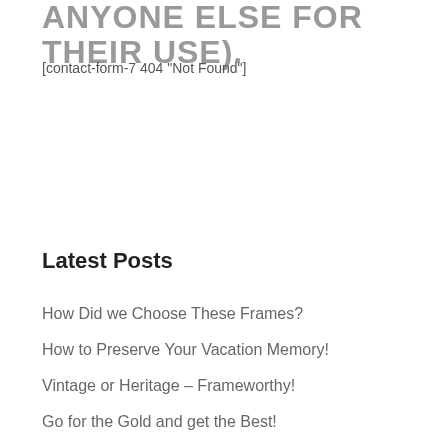ANYONE ELSE FOR THEIR USE).
[contact-form-7 404 "Not Found"]
Latest Posts
How Did we Choose These Frames?
How to Preserve Your Vacation Memory!
Vintage or Heritage – Frameworthy!
Go for the Gold and get the Best!
Top Ten Reasons to use your Local Custom Picture Framer